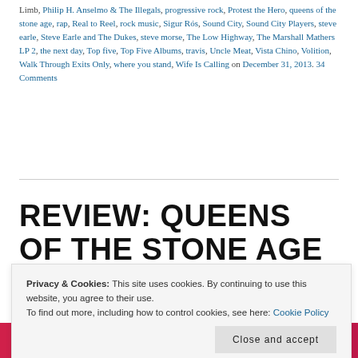Limb, Philip H. Anselmo & The Illegals, progressive rock, Protest the Hero, queens of the stone age, rap, Real to Reel, rock music, Sigur Rós, Sound City, Sound City Players, steve earle, Steve Earle and The Dukes, steve morse, The Low Highway, The Marshall Mathers LP 2, the next day, Top five, Top Five Albums, travis, Uncle Meat, Vista Chino, Volition, Walk Through Exits Only, where you stand, Wife Is Calling on December 31, 2013. 34 Comments
REVIEW: QUEENS OF THE STONE AGE – …LIKE
Privacy & Cookies: This site uses cookies. By continuing to use this website, you agree to their use. To find out more, including how to control cookies, see here: Cookie Policy
Close and accept